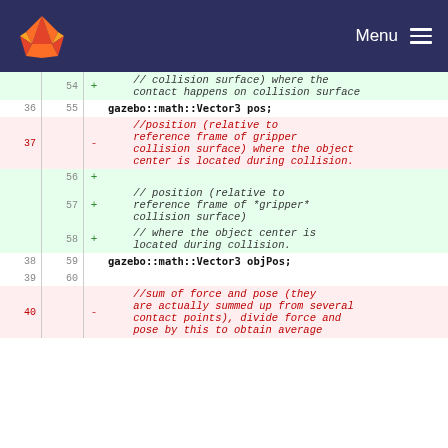GitLab — Menu
| old | new | marker | code |
| --- | --- | --- | --- |
|  | 54 | + | // collision surface) where the contact happens on collision surface |
| 36 | 55 |  | gazebo::math::Vector3 pos; |
| 37 |  | - | //position (relative to reference frame of gripper collision surface) where the object center is located during collision. |
|  | 56 | + |  |
|  | 57 | + | // position (relative to reference frame of *gripper* collision surface) |
|  | 58 | + | // where the object center is located during collision. |
| 38 | 59 |  | gazebo::math::Vector3 objPos; |
| 39 | 60 |  |  |
| 40 |  | - | //sum of force and pose (they are actually summed up from several contact points), divide force and pose by this to obtain average |